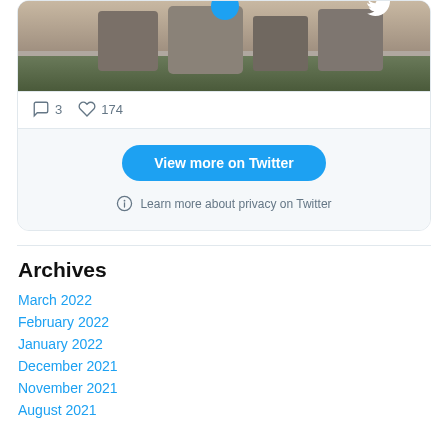[Figure (screenshot): Twitter/X embedded tweet card showing a photo of stone monolith sculptures outdoors, with comment count 3 and like count 174, a 'View more on Twitter' button, and a 'Learn more about privacy on Twitter' note.]
Archives
March 2022
February 2022
January 2022
December 2021
November 2021
August 2021